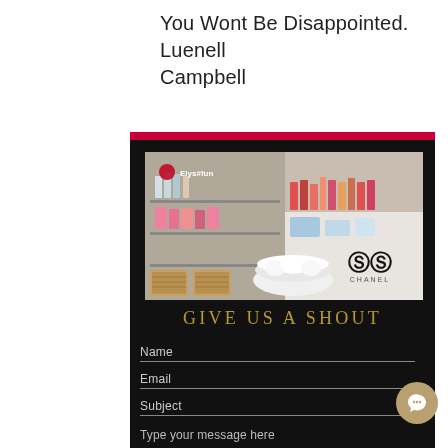You Wont Be Disappointed. Luenell Campbell
[Figure (photo): Interior of a makeup/beauty salon with cosmetics, organizers, pink products, wicker baskets, a fluffy white stool, and a Chanel logo visible. An Elysium logo appears in the upper left corner.]
GIVE US A SHOUT
Name
Email
Subject
Type your message here